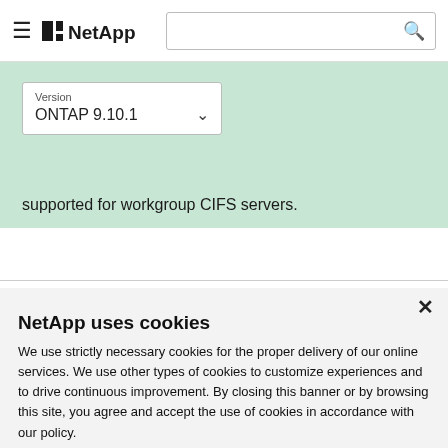NetApp
supported for workgroup CIFS servers.
NetApp uses cookies
We use strictly necessary cookies for the proper delivery of our online services. We use other types of cookies to customize experiences and to drive continuous improvement. By closing this banner or by browsing this site, you agree and accept the use of cookies in accordance with our policy.
Accept all cookies
Cookie settings